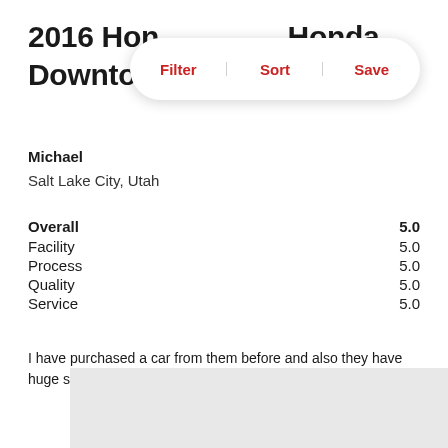2016 Honda ... Honda Downtown...
[Figure (screenshot): Filter | Sort | Save toolbar overlay]
Michael
Salt Lake City, Utah
| Category | Score |
| --- | --- |
| Overall | 5.0 |
| Facility | 5.0 |
| Process | 5.0 |
| Quality | 5.0 |
| Service | 5.0 |
I have purchased a car from them before and also they have huge selection and very good reputation.